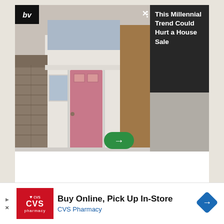[Figure (screenshot): Advertisement showing a house with a pink door. Left side shows house photo; right side has dark panel with text 'This Millennial Trend Could Hurt a House Sale'. BV logo top left, X close button, green arrow button to proceed.]
[Figure (photo): Photo of a hand wearing a yellow rubber glove spraying cleaning product on a dirty glass surface.]
[Figure (screenshot): CVS Pharmacy advertisement banner. Shows CVS pharmacy logo in red, text 'Buy Online, Pick Up In-Store' and 'CVS Pharmacy' in blue, with a blue navigation diamond icon on the right. Play and X icons on the left side.]